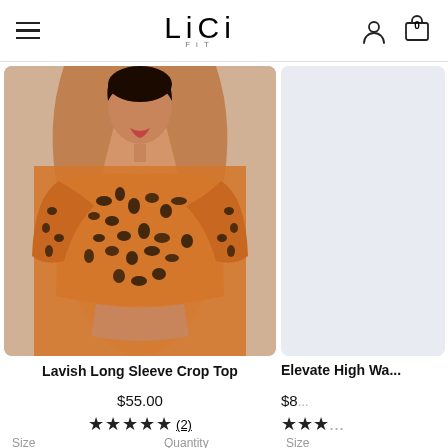LiCi FiT
[Figure (photo): Woman wearing a leopard print long sleeve crop top with arms raised above head, against light blue background]
Lavish Long Sleeve Crop Top
$55.00
★★★★★ (2)
Size  Quantity
Select  1
[Figure (photo): Partially visible product photo on the right side]
Elevate High Wa...
$8...
★★★...
Size  Select